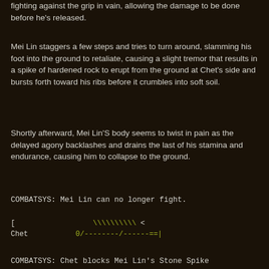fighting against the grip in vain, allowing the damage to be done before he's released.
Mei Lin staggers a few steps and tries to turn around, slamming his foot into the ground to retaliate, causing a slight tremor that results in a spike of hardened rock to erupt from the ground at Chet's side and bursts forth toward his ribs before it crumbles into soft soil.
Shortly afterward, Mei Lin'S body seems to twist in pain as the delayed agony backlashes and drains the last of his stamina and endurance, causing him to collapse to the ground.
COMBATSYS: Mei Lin can no longer fight.
[Figure (other): Combat system health/stamina bar display showing bracket notation with green backslash characters and Chet's status bar with dashes and equals signs]
COMBATSYS: Chet blocks Mei Lin's Stone Spike